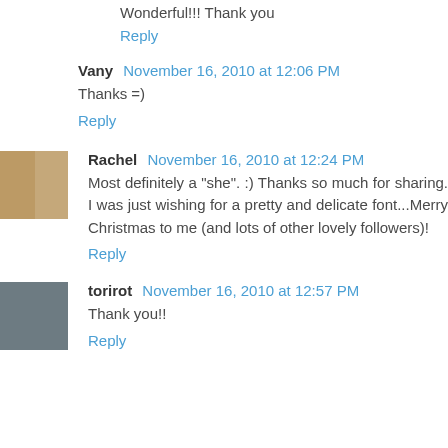Wonderful!!! Thank you
Reply
Vany  November 16, 2010 at 12:06 PM
Thanks =)
Reply
Rachel  November 16, 2010 at 12:24 PM
Most definitely a "she". :) Thanks so much for sharing. I was just wishing for a pretty and delicate font...Merry Christmas to me (and lots of other lovely followers)!
Reply
torirot  November 16, 2010 at 12:57 PM
Thank you!!
Reply